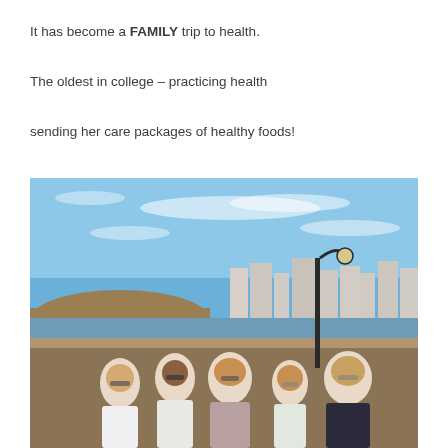It has become a FAMILY trip to health.
The oldest in college – practicing health
sending her care packages of healthy foods!
[Figure (photo): Group photo of five women posing together on a pier or boardwalk with a cityscape, beach, and blue sky in the background. A lamp post is visible behind them.]